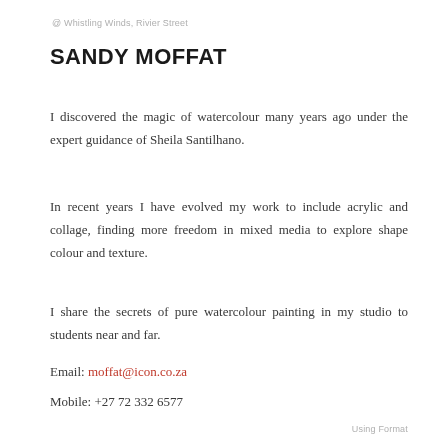@ Whistling Winds, Rivier Street
SANDY MOFFAT
I discovered the magic of watercolour many years ago under the expert guidance of Sheila Santilhano.
In recent years I have evolved my work to include acrylic and collage, finding more freedom in mixed media to explore shape colour and texture.
I share the secrets of pure watercolour painting in my studio to students near and far.
Email: moffat@icon.co.za
Mobile: +27 72 332 6577
Using Format